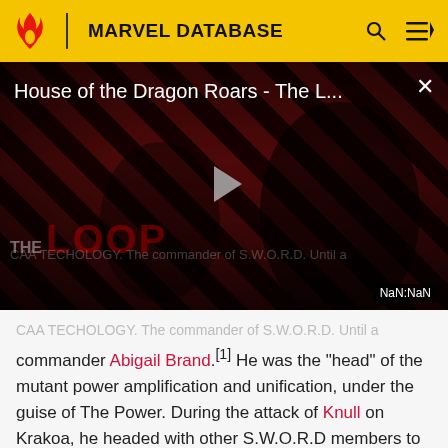MARVEL DATABASE
[Figure (screenshot): Video player showing 'House of the Dragon Roars - The L...' with play button, striped red/black background, THE LOOP text watermark, and NaN:NaN timer]
commander Abigail Brand.[1] He was the "head" of the mutant power amplification and unification, under the guise of The Power. During the attack of Knull on Krakoa, he headed with other S.W.O.R.D members to defend Krakoa as he gained access to the island by possessing